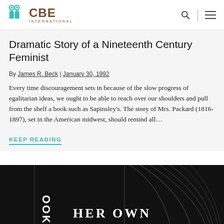CBE INTERNATIONAL
Dramatic Story of a Nineteenth Century Feminist
By James R. Beck | January 30, 1992
Every time discouragement sets in because of the slow progress of egalitarian ideas, we ought to be able to reach over our shoulders and pull from the shelf a book such as Sapinsley's. The story of Mrs. Packard (1816-1897), set in the American midwest, should remind all…
KEEP READING
[Figure (photo): Book cover image partially visible, dark background with text 'HER OWN' visible at bottom, appears to be a book about women's history]